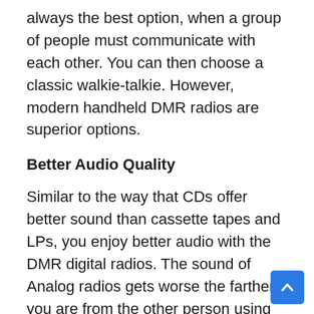always the best option, when a group of people must communicate with each other. You can then choose a classic walkie-talkie. However, modern handheld DMR radios are superior options.
Better Audio Quality
Similar to the way that CDs offer better sound than cassette tapes and LPs, you enjoy better audio with the DMR digital radios. The sound of Analog radios gets worse the farther you are from the other person using another radio. Hisses and other noises are common.
As long as you’re within the DMR radio range, the audio quality is the same. There will be no hisses or other noises.